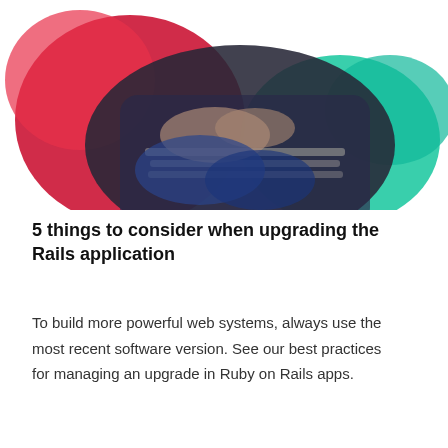[Figure (illustration): Abstract blob shapes in red/pink and teal/green with a photo of hands typing on a keyboard overlaid on top, forming a decorative header image.]
5 things to consider when upgrading the Rails application
To build more powerful web systems, always use the most recent software version. See our best practices for managing an upgrade in Ruby on Rails apps.